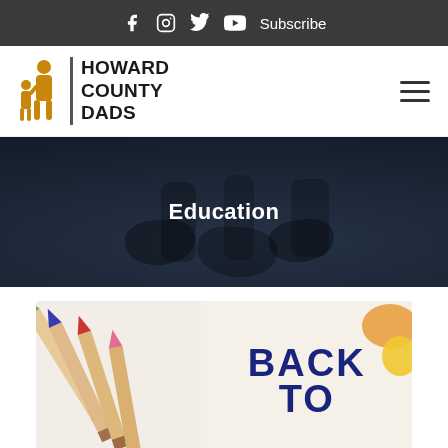f  Instagram  Twitter  YouTube  Subscribe
[Figure (logo): Howard County Dads logo with orange figure of adult and child silhouette beside bold text 'HOWARD COUNTY DADS']
Education
[Figure (photo): Colored pencils (green, blue, red, pink tips) on white background beside handwritten text 'BACK TO' in dark navy blue with decorative orange/yellow shapes]